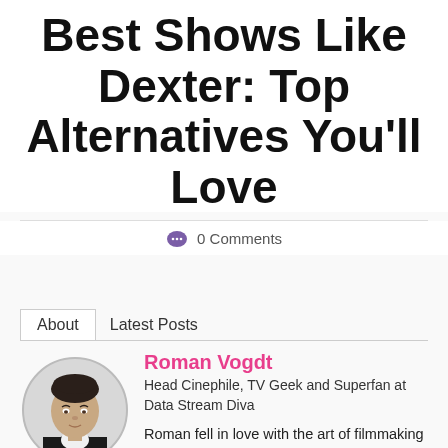Best Shows Like Dexter: Top Alternatives You'll Love
0 Comments
About   Latest Posts
[Figure (photo): Circular black and white headshot of Roman Vogdt, a man in a white shirt and dark jacket]
Roman Vogdt
Head Cinephile, TV Geek and Superfan at Data Stream Diva
Roman fell in love with the art of filmmaking when he was just a small child. While it had originally started off as a passion, it's now turned into a full-blown obsession. He thinks there's nothing else as cool as creating your